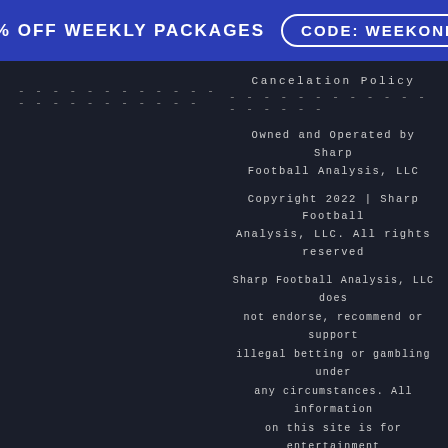77% OFF WEEKLY PACKAGES   CODE: WEEKONE
Cancelation Policy
Owned and Operated by Sharp Football Analysis, LLC
Copyright 2022 | Sharp Football Analysis, LLC. All rights reserved
Sharp Football Analysis, LLC does not endorse, recommend or support illegal betting or gambling under any circumstances. All information on this site is for entertainment purposes only and is not intended to be used in any direct or indirect violation of local, state, federal or international law(s).